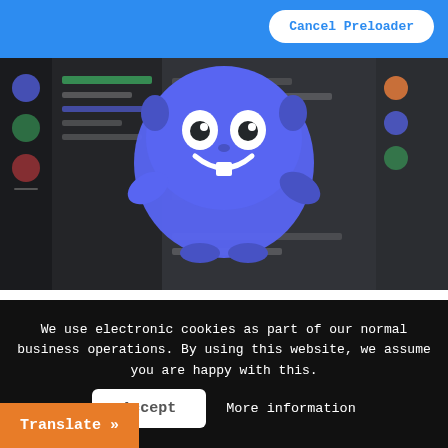Cancel Preloader
[Figure (screenshot): Screenshot of Discord application interface with Discord mascot (Wumpus) logo overlaid on a dark chat interface background]
Having a bot that has the logo of your community, the name and status you want is something more and more striking, because of course; Wouldn't a bot be better launching all those functions but carrying your own brand?
We use electronic cookies as part of our normal business operations. By using this website, we assume you are happy with this.
Accept
More information
Translate »